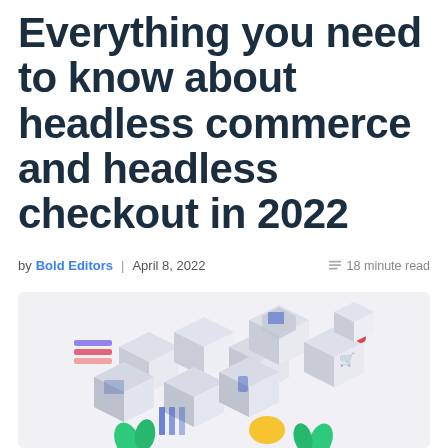Everything you need to know about headless commerce and headless checkout in 2022
by Bold Editors | April 8, 2022   18 minute read
[Figure (illustration): Isometric illustration of modular 3D cubes/boxes representing headless commerce components, with icons for shopping cart, device screens, and decorative colorful elements including green leaves, yellow shape, teal triangles, and striped colored blocks. Light grey background.]